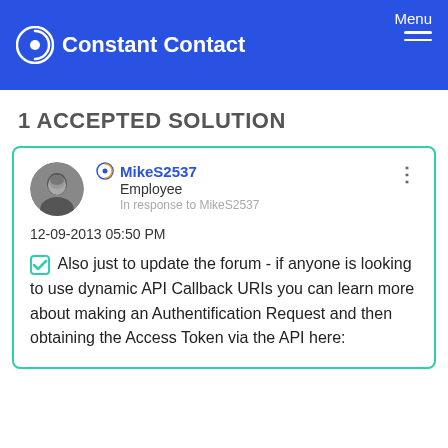Constant Contact  Menu
1 ACCEPTED SOLUTION
MikeS2537
Employee
In response to MikeS2537
12-09-2013 05:50 PM
Also just to update the forum - if anyone is looking to use dynamic API Callback URIs you can learn more about making an Authentification Request and then obtaining the Access Token via the API here: